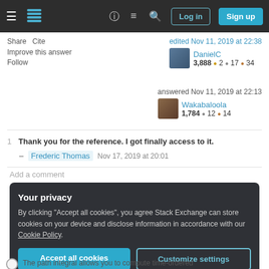Stack Exchange navigation bar with Log in and Sign up buttons
Share  Cite
Improve this answer
Follow
edited Nov 11, 2019 at 22:38
DanielC
3,888 ● 2 ● 17 ● 34
answered Nov 11, 2019 at 22:13
Wakabaloola
1,784 ● 12 ● 14
1  Thank you for the reference. I got finally access to it.
– Frederic Thomas  Nov 17, 2019 at 20:01
Add a comment
Your privacy
By clicking "Accept all cookies", you agree Stack Exchange can store cookies on your device and disclose information in accordance with our Cookie Policy.
Accept all cookies    Customize settings
The path integral allows you to compute time-ordered